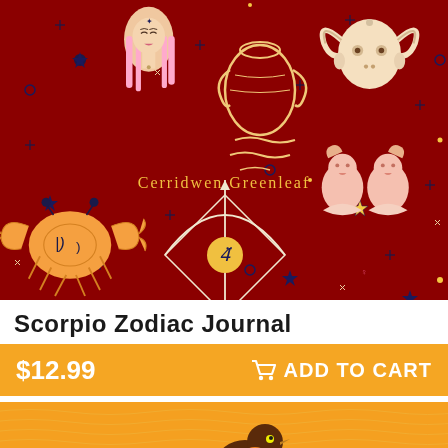[Figure (illustration): Book cover of Scorpio Zodiac Journal by Cerridwen Greenleaf. Dark red/crimson background with zodiac symbols including a woman (Virgo), water jug (Aquarius), ram (Aries), crab (Cancer), Gemini twins, an arrow with compass symbol, and decorative stars and celestial elements. Author name 'Cerridwen Greenleaf' appears in gold text in the center.]
Scorpio Zodiac Journal
$12.99  ADD TO CART
[Figure (illustration): Partial view of another book cover with orange/yellow background showing a stylized dark bird (possibly a phoenix or hawk) perched on yellow shapes, with a wavy texture pattern in the background.]